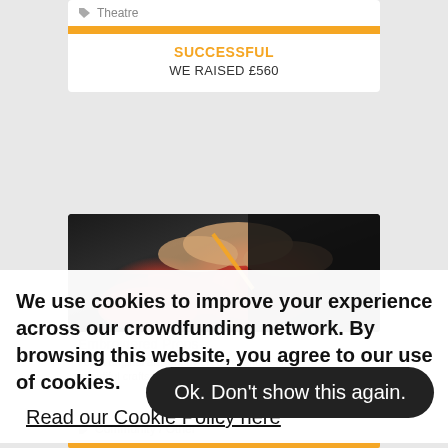Theatre
SUCCESSFUL
WE RAISED £560
[Figure (photo): Person knitting with red and black yarn, hands visible holding needles]
We use cookies to improve your experience across our crowdfunding network. By browsing this website, you agree to our use of cookies.
Read our Cookie Policy here
Ok. Don't show this again.
Community / Other